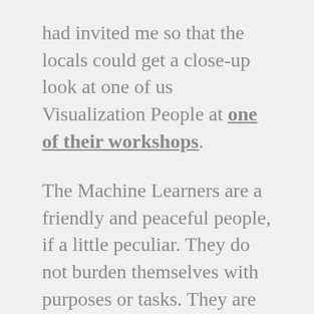had invited me so that the locals could get a close-up look at one of us Visualization People at one of their workshops.
The Machine Learners are a friendly and peaceful people, if a little peculiar. They do not burden themselves with purposes or tasks. They are content with their work if it functions in itself, and only seem to worry about comparing to their own. It is a serene and seemingly simple world, though one that might feel a little constrained and self-centered to a well-traveled outsider.
The people of NIPS have strange and interesting practices. Among them is the Ski Break, which they observe from 10:30am to